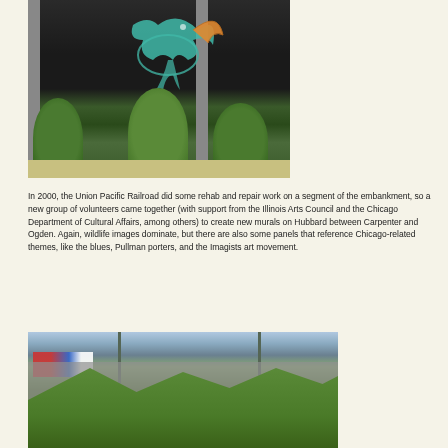[Figure (photo): Photograph of a mural on a dark embankment wall showing a colorful bird/dragon figure in teal and orange, with green bushes and small trees in front, and concrete pillars visible]
In 2000, the Union Pacific Railroad did some rehab and repair work on a segment of the embankment, so a new group of volunteers came together (with support from the Illinois Arts Council and the Chicago Department of Cultural Affairs, among others) to create new murals on Hubbard between Carpenter and Ogden. Again, wildlife images dominate, but there are also some panels that reference Chicago-related themes, like the blues, Pullman porters, and the Imagists art movement.
[Figure (photo): Photograph showing a street-level view with large trees in front of a concrete overpass or embankment structure, with colorful signage visible on the left and street poles]